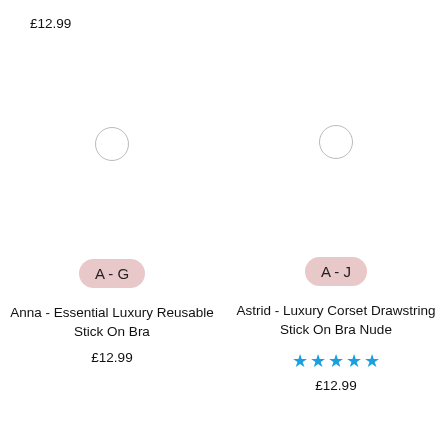£12.99
[Figure (illustration): Product card for Anna - Essential Luxury Reusable Stick On Bra with radio circle and size badge A-G]
Anna - Essential Luxury Reusable Stick On Bra
£12.99
[Figure (illustration): Product card for Astrid - Luxury Corset Drawstring Stick On Bra Nude with radio circle and size badge A-J]
Astrid - Luxury Corset Drawstring Stick On Bra Nude
[Figure (other): 5 blue stars rating]
£12.99